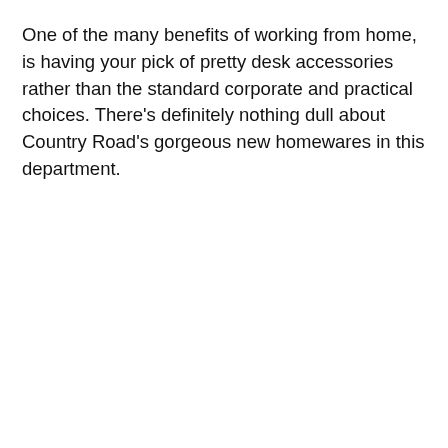One of the many benefits of working from home, is having your pick of pretty desk accessories rather than the standard corporate and practical choices. There's definitely nothing dull about Country Road's gorgeous new homewares in this department.